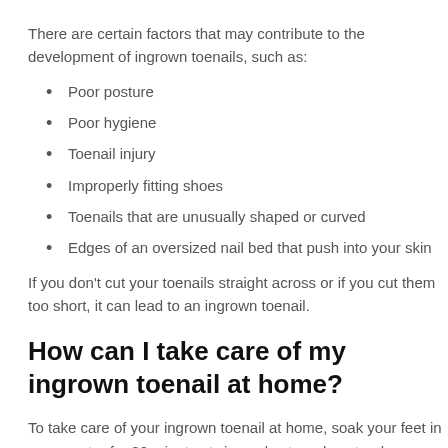There are certain factors that may contribute to the development of ingrown toenails, such as:
Poor posture
Poor hygiene
Toenail injury
Improperly fitting shoes
Toenails that are unusually shaped or curved
Edges of an oversized nail bed that push into your skin
If you don’t cut your toenails straight across or if you cut them too short, it can lead to an ingrown toenail.
How can I take care of my ingrown toenail at home?
To take care of your ingrown toenail at home, soak your feet in warm water for 20 minutes twice a day to reduce tenderness and swelling. You can soften the edges of your